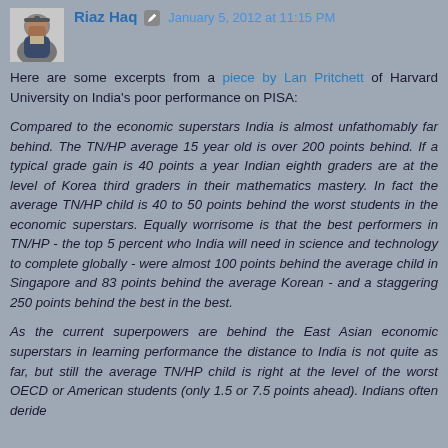Riaz Haq  January 5, 2012 at 11:15 PM
Here are some excerpts from a piece by Lan Pritchett of Harvard University on India's poor performance on PISA:
Compared to the economic superstars India is almost unfathomably far behind. The TN/HP average 15 year old is over 200 points behind. If a typical grade gain is 40 points a year Indian eighth graders are at the level of Korea third graders in their mathematics mastery. In fact the average TN/HP child is 40 to 50 points behind the worst students in the economic superstars. Equally worrisome is that the best performers in TN/HP - the top 5 percent who India will need in science and technology to complete globally - were almost 100 points behind the average child in Singapore and 83 points behind the average Korean - and a staggering 250 points behind the best in the best.
As the current superpowers are behind the East Asian economic superstars in learning performance the distance to India is not quite as far, but still the average TN/HP child is right at the level of the worst OECD or American students (only 1.5 or 7.5 points ahead). Indians often deride